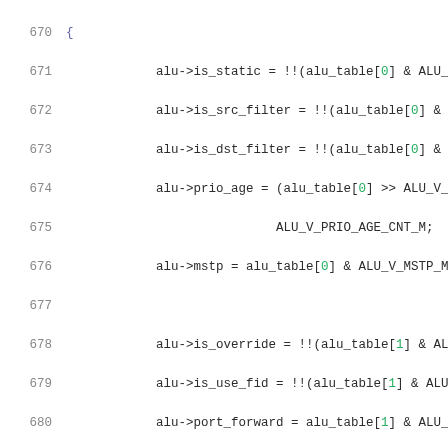Source code listing lines 670-690 showing C code for ALU table field extraction (is_static, is_src_filter, is_dst_filter, prio_age, mstp, is_override, is_use_fid, port_forward, fid, mac[0]-mac[5])